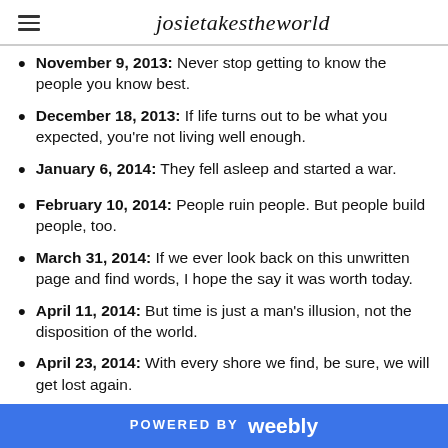josietakestheworld
November 9, 2013: Never stop getting to know the people you know best.
December 18, 2013: If life turns out to be what you expected, you're not living well enough.
January 6, 2014: They fell asleep and started a war.
February 10, 2014: People ruin people. But people build people, too.
March 31, 2014: If we ever look back on this unwritten page and find words, I hope the say it was worth today.
April 11, 2014: But time is just a man's illusion, not the disposition of the world.
April 23, 2014: With every shore we find, be sure, we will get lost again.
POWERED BY weebly